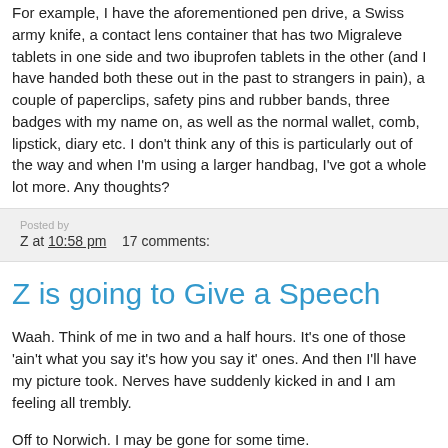For example, I have the aforementioned pen drive, a Swiss army knife, a contact lens container that has two Migraleve tablets in one side and two ibuprofen tablets in the other (and I have handed both these out in the past to strangers in pain), a couple of paperclips, safety pins and rubber bands, three badges with my name on, as well as the normal wallet, comb, lipstick, diary etc. I don't think any of this is particularly out of the way and when I'm using a larger handbag, I've got a whole lot more. Any thoughts?
Z at 10:58 pm    17 comments:
Z is going to Give a Speech
Waah. Think of me in two and a half hours. It's one of those 'ain't what you say it's how you say it' ones. And then I'll have my picture took. Nerves have suddenly kicked in and I am feeling all trembly.
Off to Norwich. I may be gone for some time.